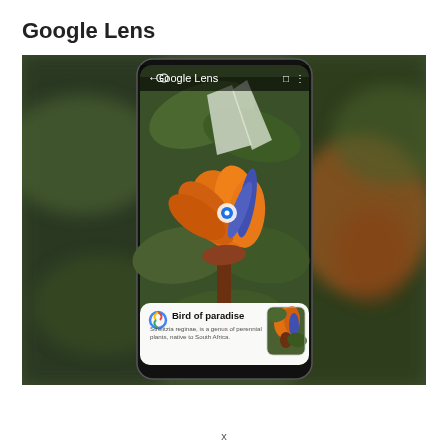Google Lens
[Figure (screenshot): Screenshot of Google Lens app identifying a Bird of Paradise flower. The app UI shows 'Google Lens' in the header bar with navigation icons. The main image shows a Bird of Paradise flower (Strelitzia reginae) with orange and blue petals against green tropical leaves. A blue dot target marker is centered on the flower. At the bottom is a result card showing the Google Lens icon, the text 'Bird of paradise', and a description 'Strelitzia reginae, is a genus of perennial plants, native to South Africa.' with a thumbnail image of the flower. The phone screenshot is shown against a blurred background of the same flower image.]
x